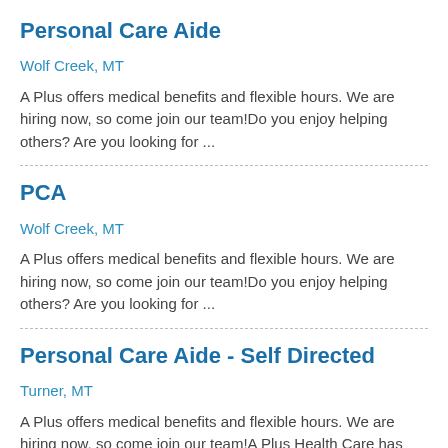Personal Care Aide
Wolf Creek, MT
A Plus offers medical benefits and flexible hours. We are hiring now, so come join our team!Do you enjoy helping others? Are you looking for ...
PCA
Wolf Creek, MT
A Plus offers medical benefits and flexible hours. We are hiring now, so come join our team!Do you enjoy helping others? Are you looking for ...
Personal Care Aide - Self Directed
Turner, MT
A Plus offers medical benefits and flexible hours. We are hiring now, so come join our team!A Plus Health Care has immediate hires for Personal ...